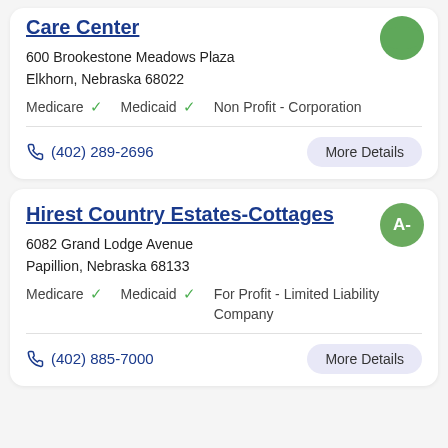Care Center
600 Brookestone Meadows Plaza
Elkhorn, Nebraska 68022
Medicare ✓   Medicaid ✓   Non Profit - Corporation
(402) 289-2696
Hirest Country Estates-Cottages
6082 Grand Lodge Avenue
Papillion, Nebraska 68133
Medicare ✓   Medicaid ✓   For Profit - Limited Liability Company
(402) 885-7000